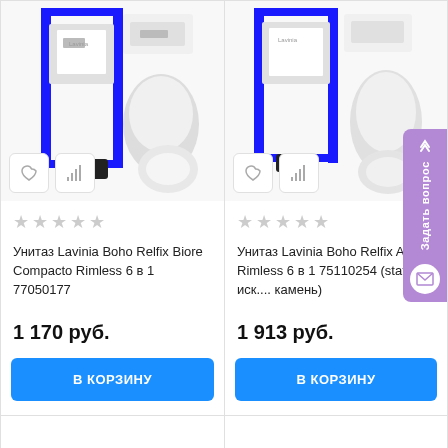[Figure (photo): Product image: Унитаз Lavinia Boho Relfix Biore Compacto Rimless 6 в 1 77050177 — blue frame toilet installation set with white flush plate and toilet bowl]
★★★★★
Унитаз Lavinia Boho Relfix Biore Compacto Rimless 6 в 1 77050177
1 170 руб.
В КОРЗИНУ
[Figure (photo): Product image: Унитаз Lavinia Boho Relfix Aveo Rimless 6 в 1 75110254 — blue frame toilet installation set with white bowl and flush plate]
★★★★★
Унитаз Lavinia Boho Relfix Aveo Rimless 6 в 1 75110254 (statuary иск.... камень)
1 913 руб.
В КОРЗИНУ